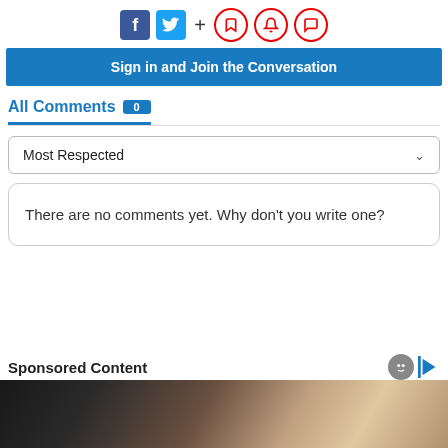[Figure (screenshot): Social media share icons: Facebook (blue), Twitter (cyan), plus sign, and three red circle icons (bookmark, bell, comment)]
Sign in and Join the Conversation
All Comments 0
Most Respected
There are no comments yet. Why don't you write one?
Sponsored Content
[Figure (photo): Partial photo of a hand holding a dark object, blurred background]